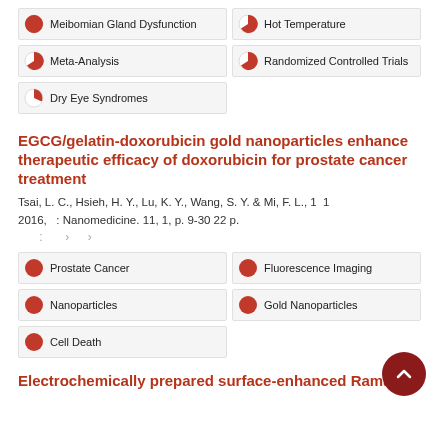Meibomian Gland Dysfunction
Hot Temperature
Meta-Analysis
Randomized Controlled Trials
Dry Eye Syndromes
EGCG/gelatin-doxorubicin gold nanoparticles enhance therapeutic efficacy of doxorubicin for prostate cancer treatment
Tsai, L. C., Hsieh, H. Y., Lu, K. Y., Wang, S. Y. & Mi, F. L., 1 1 2016, : Nanomedicine. 11, 1, p. 9-30 22 p.
Prostate Cancer
Fluorescence Imaging
Nanoparticles
Gold Nanoparticles
Cell Death
Electrochemically prepared surface-enhanced Raman